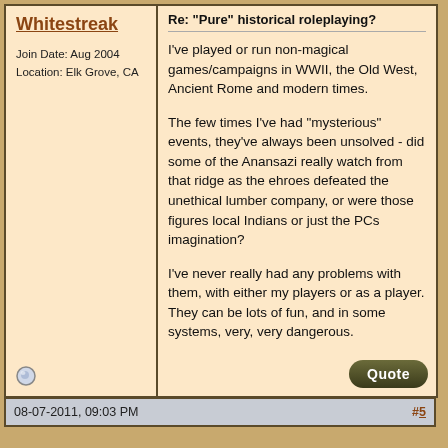Whitestreak
Join Date: Aug 2004
Location: Elk Grove, CA
Re: "Pure" historical roleplaying?
I've played or run non-magical games/campaigns in WWII, the Old West, Ancient Rome and modern times.

The few times I've had "mysterious" events, they've always been unsolved - did some of the Anansazi really watch from that ridge as the ehroes defeated the unethical lumber company, or were those figures local Indians or just the PCs imagination?

I've never really had any problems with them, with either my players or as a player. They can be lots of fun, and in some systems, very, very dangerous.
08-07-2011, 09:03 PM  #5